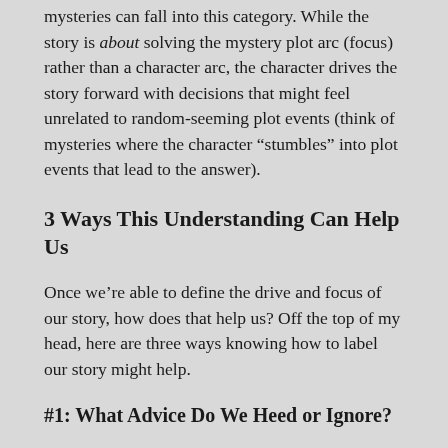mysteries can fall into this category. While the story is about solving the mystery plot arc (focus) rather than a character arc, the character drives the story forward with decisions that might feel unrelated to random-seeming plot events (think of mysteries where the character “stumbles” into plot events that lead to the answer).
3 Ways This Understanding Can Help Us
Once we’re able to define the drive and focus of our story, how does that help us? Off the top of my head, here are three ways knowing how to label our story might help.
#1: What Advice Do We Heed or Ignore?